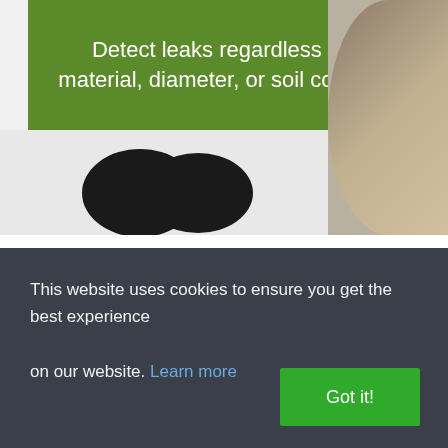[Figure (photo): Top banner with green background showing text 'Detect leaks regardless of pipe material, diameter, or soil composition', with a dark heart/disc shape at bottom-left and a circular food/plant image at right.]
SonicSolutions Algae Control
SonicSolutions LLC
Algal blooms and the resulting cyanotoxins — responsible for a water system shutdown in Toledo, OH, in 2014 — are among today's greatest water quality challenges. Created by excess nutrients in surface water and abetted by warm temperature
This website uses cookies to ensure you get the best experience on our website. Learn more
Got it!